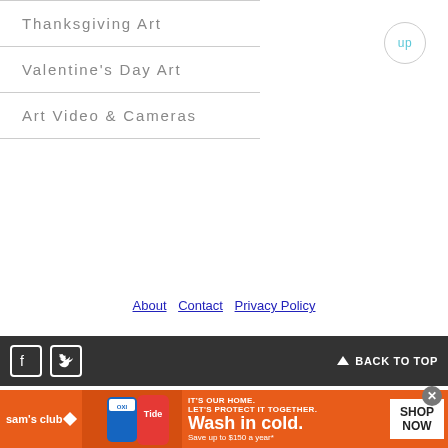Thanksgiving Art
Valentine's Day Art
Art Video & Cameras
up
About  Contact  Privacy Policy
BACK TO TOP
[Figure (infographic): Sam's Club advertisement for Tide detergent - Wash in cold. Save up to $150 a year*. Shop Now button.]